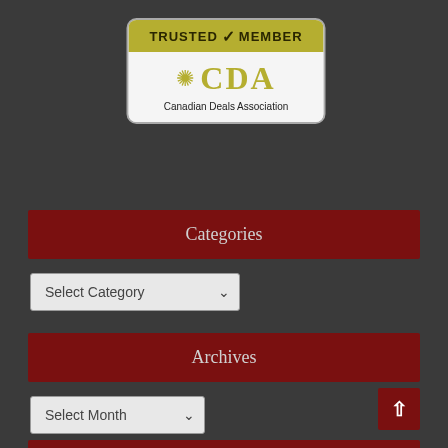[Figure (logo): CDA Canadian Deals Association Trusted Member badge. Gold/olive top bar with 'TRUSTED MEMBER' text and checkmark. White lower section with gold CDA logo (maple leaf snowflake) and subtitle 'Canadian Deals Association'.]
Categories
[Figure (screenshot): Select Category dropdown form control]
Archives
[Figure (screenshot): Select Month dropdown form control]
[Figure (other): Back to top arrow button (dark red square with upward arrow)]